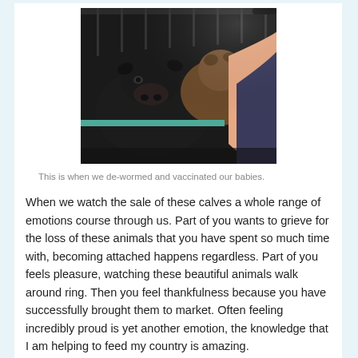[Figure (photo): Close-up photo of black cattle (calves) in a pen/trailer, with a person wearing sunglasses and a dark tank top visible on the right side. The animals are close to the camera in a barn or transport setting.]
This is when we de-wormed and vaccinated our babies.
When we watch the sale of these calves a whole range of emotions course through us. Part of you wants to grieve for the loss of these animals that you have spent so much time with, becoming attached happens regardless. Part of you feels pleasure, watching these beautiful animals walk around ring. Then you feel thankfulness because you have successfully brought them to market. Often feeling incredibly proud is yet another emotion, the knowledge that I am helping to feed my country is amazing.